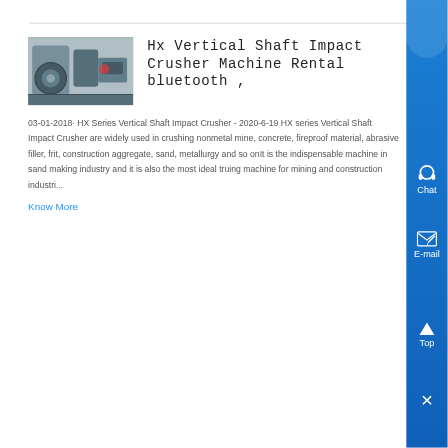[Figure (photo): Photo of an HX Vertical Shaft Impact Crusher machine, industrial machinery in gray/blue tones]
Hx Vertical Shaft Impact Crusher Machine Rental bluetooth ,
03-01-2018· HX Series Vertical Shaft Impact Crusher - 2020-6-19 HX series Vertical Shaft Impact Crusher are widely used in crushing nonmetal mine, concrete, fireproof material, abrasive filler, frit, construction aggregate, sand, metallurgy and so onIt is the indispensable machine in sand making industry and it is also the most ideal truing machine for mining and construction industri...
Know More